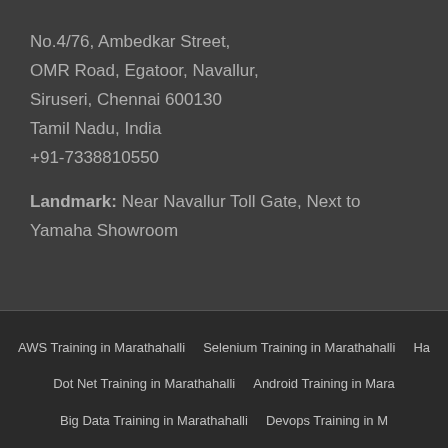No.4/76, Ambedkar Street,
OMR Road, Egatoor, Navallur,
Siruseri, Chennai 600130
Tamil Nadu, India
+91-7338810550
Landmark: Near Navallur Toll Gate, Next to Yamaha Showroom
AWS Training in Marathahalli
Selenium Training in Marathahalli
Ha...
Dot Net Training in Marathahalli
Android Training in Mara...
Big Data Training in Marathahalli
Devops Training in M...